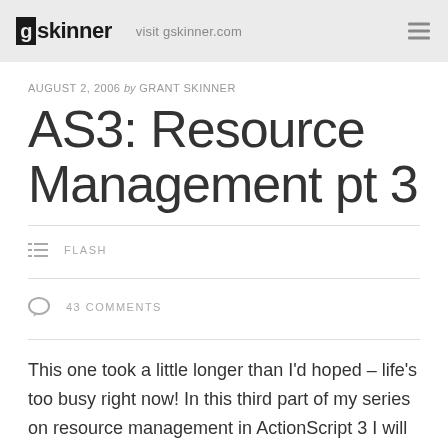gskinner  visit gskinner.com
AUGUST 2, 2006 by GRANT SKINNER
AS3: Resource Management pt 3
FLASH
43 COMMENTS
This one took a little longer than I'd hoped – life's too busy right now! In this third part of my series on resource management in ActionScript 3 I will be focusing on a few